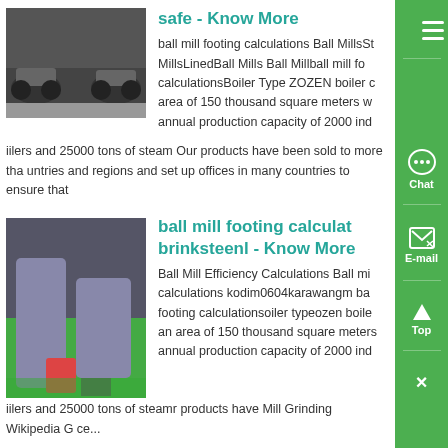safe - Know More
ball mill footing calculations Ball MillsSt MillsLinedBall Mills Ball Millball mill fo calculationsBoiler Type ZOZEN boiler c area of 150 thousand square meters w annual production capacity of 2000 ind iilers and 25000 tons of steam Our products have been sold to more tha untries and regions and set up offices in many countries to ensure that
[Figure (photo): Photo of tracked vehicles/machinery on a road]
ball mill footing calculat brinksteenl - Know More
[Figure (photo): Photo of ball mill industrial equipment interior]
Ball Mill Efficiency Calculations Ball mi calculations kodim0604karawangm ba footing calculationsoiler typeozen boile an area of 150 thousand square meters annual production capacity of 2000 ind iilers and 25000 tons of steamr products have Mill Grinding Wikipedia G ce...